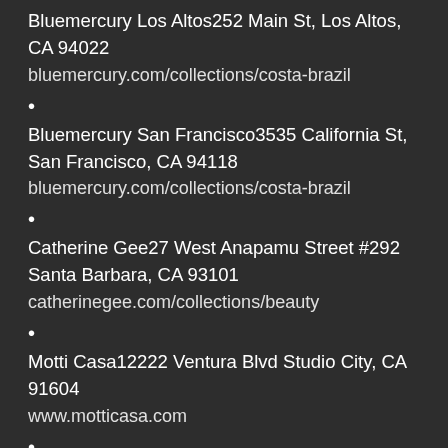Bluemercury Los Altos252 Main St, Los Altos, CA 94022
bluemercury.com/collections/costa-brazil
Bluemercury San Francisco3535 California St, San Francisco, CA 94118
bluemercury.com/collections/costa-brazil
Catherine Gee27 West Anapamu Street #292 Santa Barbara, CA 93101
catherinegee.com/collections/beauty
Motti Casa12222 Ventura Blvd Studio City, CA 91604
www.motticasa.com
The Give Store7523 W. Sunset Blvd. Los Angeles, CA 90046
thegivest...